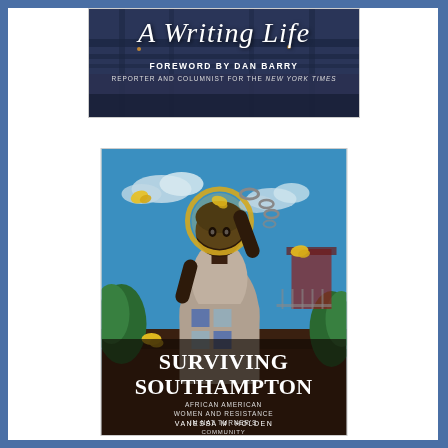[Figure (photo): Book cover for 'A Writing Life' with foreword by Dan Barry, reporter and columnist for the New York Times. Dark urban/bridge background with white script and bold text.]
[Figure (illustration): Book cover for 'Surviving Southampton: African American Women and Resistance in Nat Turner's Community' by Vanessa M. Holden. Illustrated cover showing a Black woman in historical dress with a golden halo, broken chains, and yellow butterflies against a blue sky background.]